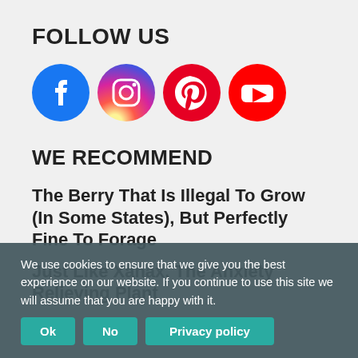FOLLOW US
[Figure (infographic): Four social media icons in circles: Facebook (blue), Instagram (gradient purple/orange), Pinterest (red), YouTube (red)]
WE RECOMMEND
The Berry That Is Illegal To Grow (In Some States), But Perfectly Fine To Forage
Just Like Xanax, The Anxiety Relieving Plant That Grows In Your Backyard
Add This “Unusual Nutrient” to Coffee or Tea, to Effortlessly Improve Your Bowels Every Single Morning
We use cookies to ensure that we give you the best experience on our website. If you continue to use this site we will assume that you are happy with it.